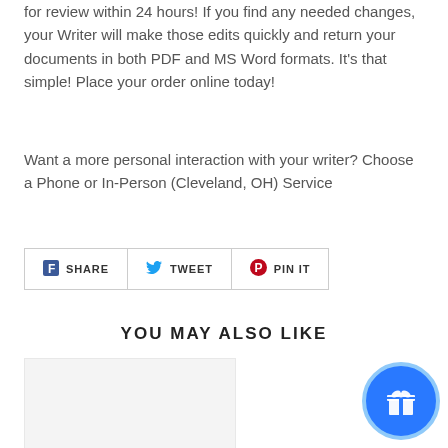for review within 24 hours! If you find any needed changes, your Writer will make those edits quickly and return your documents in both PDF and MS Word formats. It's that simple! Place your order online today!
Want a more personal interaction with your writer? Choose a Phone or In-Person (Cleveland, OH) Service
[Figure (screenshot): Social share buttons: SHARE (Facebook), TWEET (Twitter), PIN IT (Pinterest)]
YOU MAY ALSO LIKE
[Figure (other): Product image placeholder (gray rectangle)]
[Figure (other): Blue gift/rewards button circle in bottom-right corner]